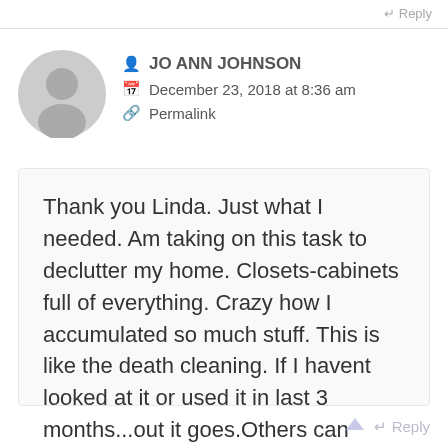Reply
JO ANN JOHNSON
December 23, 2018 at 8:36 am
Permalink
Thank you Linda. Just what I needed. Am taking on this task to declutter my home. Closets-cabinets full of everything. Crazy how I accumulated so much stuff. This is like the death cleaning. If I havent looked at it or used it in last 3 months...out it goes.Others can utilize them. Going to take some things to womens shelters. Takes for the inspiration and great tips!
Reply